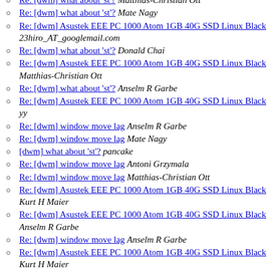Re: [dwm] what about 'st'? Mathias-Christian Ott
Re: [dwm] what about 'st'? Mate Nagy
Re: [dwm] Asustek EEE PC 1000 Atom 1GB 40G SSD Linux Black 23hiro_AT_googlemail.com
Re: [dwm] what about 'st'? Donald Chai
Re: [dwm] Asustek EEE PC 1000 Atom 1GB 40G SSD Linux Black Matthias-Christian Ott
Re: [dwm] what about 'st'? Anselm R Garbe
Re: [dwm] Asustek EEE PC 1000 Atom 1GB 40G SSD Linux Black yy
Re: [dwm] window move lag Anselm R Garbe
Re: [dwm] window move lag Mate Nagy
[dwm] what about 'st'? pancake
Re: [dwm] window move lag Antoni Grzymala
Re: [dwm] window move lag Matthias-Christian Ott
Re: [dwm] Asustek EEE PC 1000 Atom 1GB 40G SSD Linux Black Kurt H Maier
Re: [dwm] Asustek EEE PC 1000 Atom 1GB 40G SSD Linux Black Anselm R Garbe
Re: [dwm] window move lag Anselm R Garbe
Re: [dwm] Asustek EEE PC 1000 Atom 1GB 40G SSD Linux Black Kurt H Maier
[dwm] window move lag Mate Nagy
Re: [dwm] Asustek EEE PC 1000 Atom 1GB 40G SSD Linux Black Matthias-Christian Ott
Re: [dwm] Asustek EEE PC 1000 Atom 1GB 40G SSD Linux Black (partial)